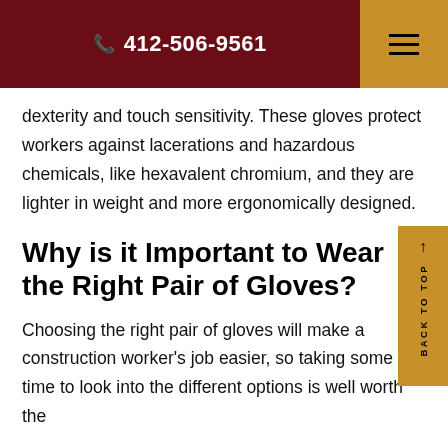📞 412-506-9561
dexterity and touch sensitivity. These gloves protect workers against lacerations and hazardous chemicals, like hexavalent chromium, and they are lighter in weight and more ergonomically designed.
Why is it Important to Wear the Right Pair of Gloves?
Choosing the right pair of gloves will make a construction worker's job easier, so taking some time to look into the different options is well worth the